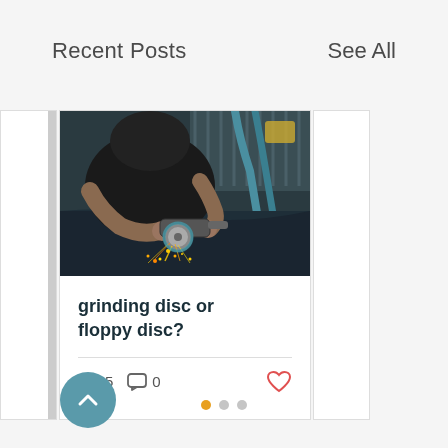Recent Posts
See All
[Figure (photo): Person using an angle grinder with sparks flying, working on metal in an industrial setting]
grinding disc or floppy disc?
5 views  0 comments  heart/like icon